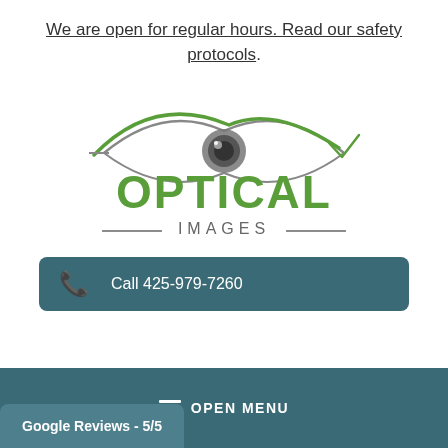We are open for regular hours. Read our safety protocols.
[Figure (logo): Optical Images logo with stylized eye graphic above large green text OPTICAL and gray text IMAGES with decorative lines]
Call 425-979-7260
≡ OPEN MENU
Google Reviews - 5/5